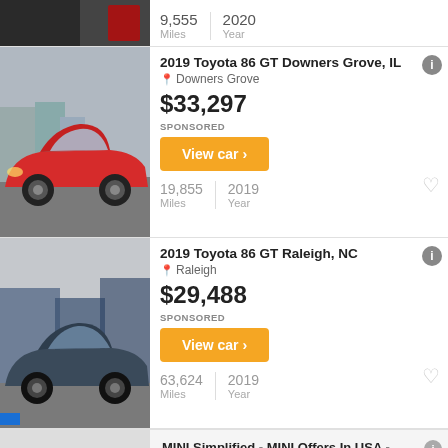Miles | Year
2019 Toyota 86 GT Downers Grove, IL
Downers Grove
$33,297
SPONSORED
19,855 Miles | 2019 Year
2019 Toyota 86 GT Raleigh, NC
Raleigh
$29,488
SPONSORED
63,624 Miles | 2019 Year
MINI Simplified - MINI Offers In USA - Build & Order A 2023 MINI